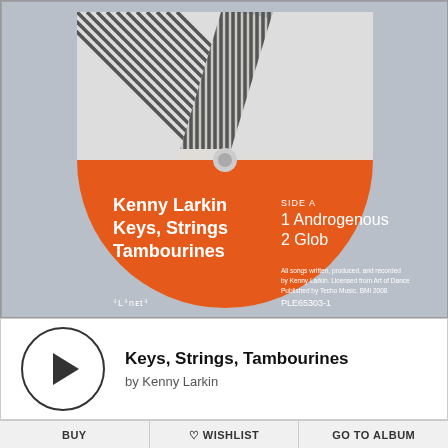[Figure (photo): Vinyl record label showing orange lower half with white text 'Kenny Larkin Keys, Strings Tambourines', tracklist 'Side A: 1 Androgenous, 2 Glob', Planet E and PLE65303-1 labels, upper half with geometric striped pattern in grey and white]
Keys, Strings, Tambourines
by Kenny Larkin
BUY
♡ WISHLIST
GO TO ALBUM